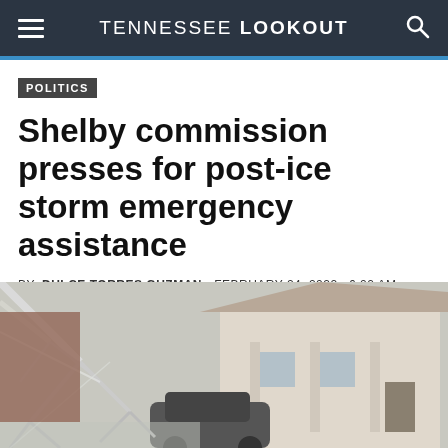TENNESSEE LOOKOUT
POLITICS
Shelby commission presses for post-ice storm emergency assistance
BY: DULCE TORRES GUZMAN - FEBRUARY 24, 2022  6:00 AM
[Figure (infographic): Social media sharing icons: Twitter, LinkedIn, Facebook, Email, Link, Print]
[Figure (photo): Outdoor winter scene showing ice-covered tree branches drooping over a residential house and a car, after an ice storm.]